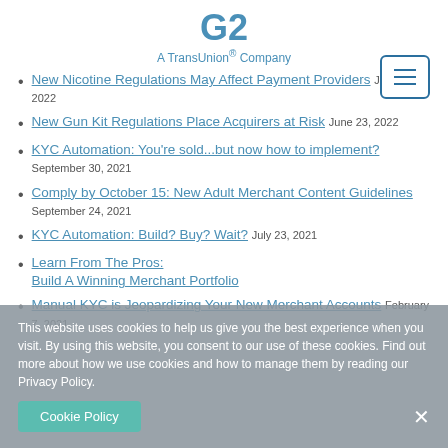G2 A TransUnion® Company
New Nicotine Regulations May Affect Payment Providers July 25, 2022
New Gun Kit Regulations Place Acquirers at Risk June 23, 2022
KYC Automation: You're sold...but now how to implement? September 30, 2021
Comply by October 15: New Adult Merchant Content Guidelines September 24, 2021
KYC Automation: Build? Buy? Wait? July 23, 2021
Learn From The Pros:
Build A Winning Merchant Portfolio
Manual KYC is Jeopardizing Your New Merchant Accounts February 7, 2021
This website uses cookies to help us give you the best experience when you visit. By using this website, you consent to our use of these cookies. Find out more about how we use cookies and how to manage them by reading our Privacy Policy.